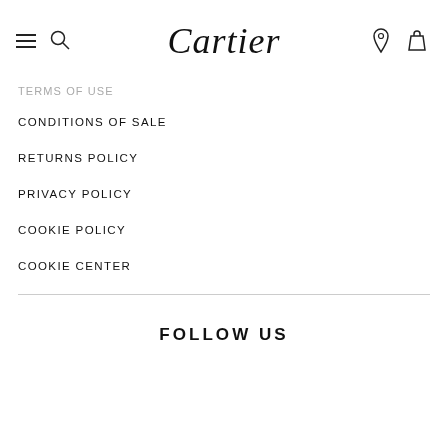Cartier
TERMS OF USE
CONDITIONS OF SALE
RETURNS POLICY
PRIVACY POLICY
COOKIE POLICY
COOKIE CENTER
FOLLOW US